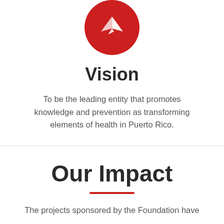[Figure (illustration): Red circle with white paper airplane icon centered at top of page]
Vision
To be the leading entity that promotes knowledge and prevention as transforming elements of health in Puerto Rico.
Our Impact
The projects sponsored by the Foundation have